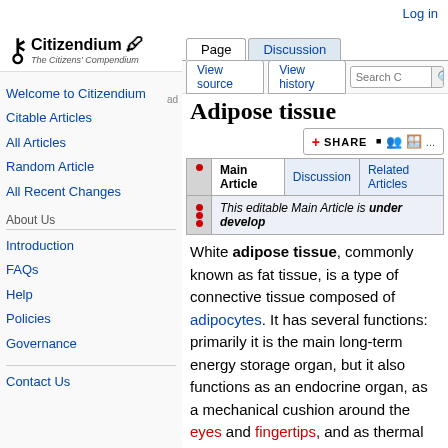Log in
[Figure (logo): Citizendium logo with key icon and text 'The Citizens' Compendium']
Adipose tissue
Main Article | Discussion | Related Articles
This editable Main Article is under develo...
White adipose tissue, commonly known as fat tissue, is a type of connective tissue composed of adipocytes. It has several functions: primarily it is the main long-term energy storage organ, but it also functions as an endocrine organ, as a mechanical cushion around the eyes and fingertips, and as thermal insulation.
Welcome to Citizendium
Citable Articles
All Articles
Random Article
All Recent Changes
Introduction
FAQs
Help
Policies
Governance
Contact Us